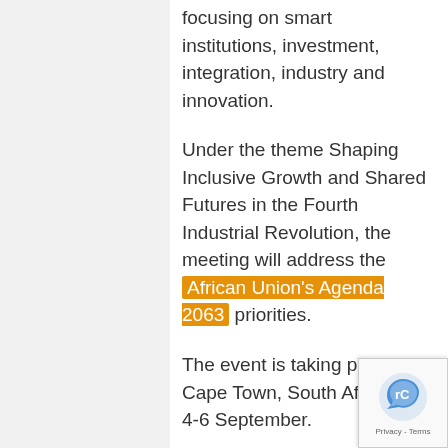focusing on smart institutions, investment, integration, industry and innovation.
Under the theme Shaping Inclusive Growth and Shared Futures in the Fourth Industrial Revolution, the meeting will address the African Union's Agenda 2063 priorities.
The event is taking place in Cape Town, South Africa on 4-6 September.
The WEF has provided a guide on how to follow #af19 on various digital channels. You are encouraged to post, share, and retweet by tagging WEF accounts and by using their official